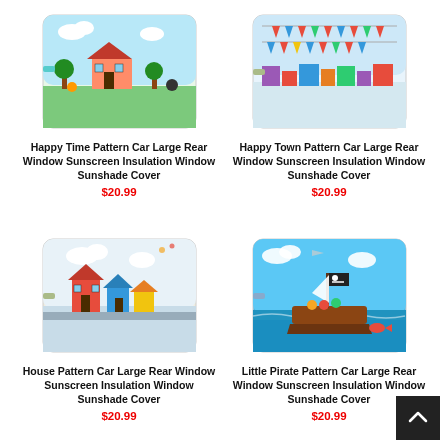[Figure (photo): Happy Time Pattern Car Large Rear Window Sunscreen Insulation Window Sunshade Cover product image - colorful cartoon house and animals on a green background]
Happy Time Pattern Car Large Rear Window Sunscreen Insulation Window Sunshade Cover
$20.99
[Figure (photo): Happy Town Pattern Car Large Rear Window Sunscreen Insulation Window Sunshade Cover product image - colorful cartoon town with bunting flags]
Happy Town Pattern Car Large Rear Window Sunscreen Insulation Window Sunshade Cover
$20.99
[Figure (photo): House Pattern Car Large Rear Window Sunscreen Insulation Window Sunshade Cover product image - cartoon colorful houses]
House Pattern Car Large Rear Window Sunscreen Insulation Window Sunshade Cover
$20.99
[Figure (photo): Little Pirate Pattern Car Large Rear Window Sunscreen Insulation Window Sunshade Cover product image - cartoon pirate ship on blue ocean]
Little Pirate Pattern Car Large Rear Window Sunscreen Insulation Window Sunshade Cover
$20.99